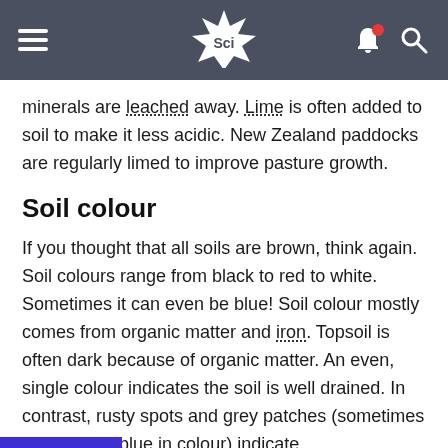Sci
minerals are leached away. Lime is often added to soil to make it less acidic. New Zealand paddocks are regularly limed to improve pasture growth.
Soil colour
If you thought that all soils are brown, think again. Soil colours range from black to red to white. Sometimes it can even be blue! Soil colour mostly comes from organic matter and iron. Topsoil is often dark because of organic matter. An even, single colour indicates the soil is well drained. In contrast, rusty spots and grey patches (sometimes even a light blue in colour) indicate